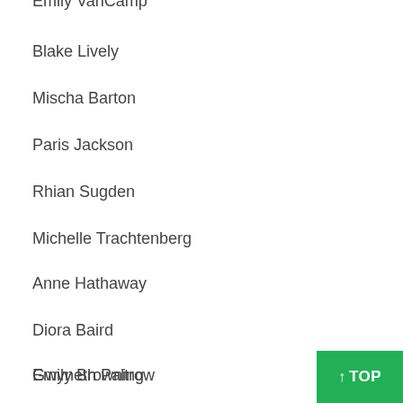Emily VanCamp
Blake Lively
Mischa Barton
Paris Jackson
Rhian Sugden
Michelle Trachtenberg
Anne Hathaway
Diora Baird
Gwyneth Paltrow
Emily Browning
Emma Stone